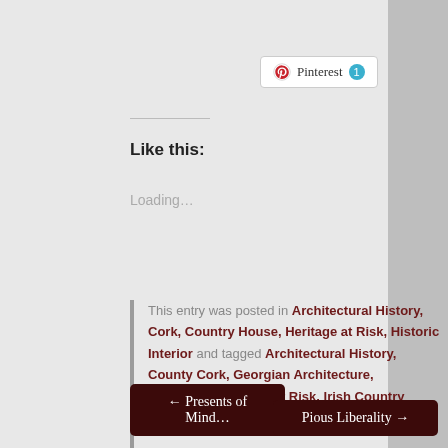[Figure (other): Pinterest share button with count badge showing 1]
Like this:
Loading...
This entry was posted in Architectural History, Cork, Country House, Heritage at Risk, Historic Interior and tagged Architectural History, County Cork, Georgian Architecture, Heathfield, Heritage at Risk, Irish Country House, Stately Home, The Big House.
← Presents of Mind...
Pious Liberality →